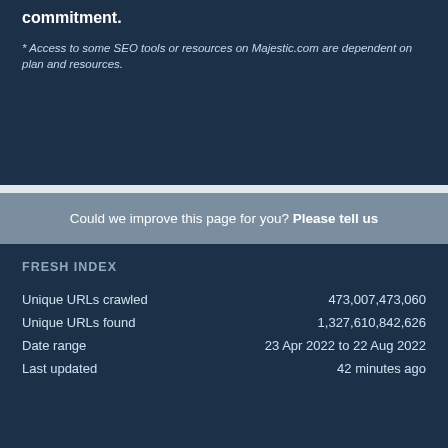commitment.
* Access to some SEO tools or resources on Majestic.com are dependent on plan and resources.
Could we improve this page for you? Please tell us
FRESH INDEX
|  |  |
| --- | --- |
| Unique URLs crawled | 473,007,473,060 |
| Unique URLs found | 1,327,610,842,626 |
| Date range | 23 Apr 2022 to 22 Aug 2022 |
| Last updated | 42 minutes ago |